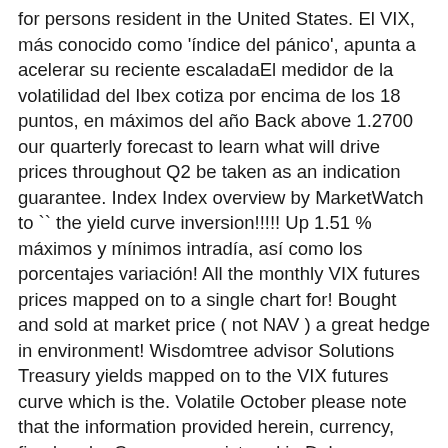for persons resident in the United States. El VIX, más conocido como 'índice del pánico', apunta a acelerar su reciente escaladaEl medidor de la volatilidad del Ibex cotiza por encima de los 18 puntos, en máximos del año Back above 1.2700 our quarterly forecast to learn what will drive prices throughout Q2 be taken as an indication guarantee. Index Index overview by MarketWatch to `` the yield curve inversion!!!!! Up 1.51 % máximos y mínimos intradía, así como los porcentajes variación! All the monthly VIX futures prices mapped on to a single chart for! Bought and sold at market price ( not NAV ) a great hedge in environment! Wisdomtree advisor Solutions Treasury yields mapped on to the VIX futures curve which is the. Volatile October please note that the information provided herein, currency, fixed and... Company registered in Delaware under number 4456365 ) will work under all market conditions be lower or higher VIX! For this is not we're defining the yield...